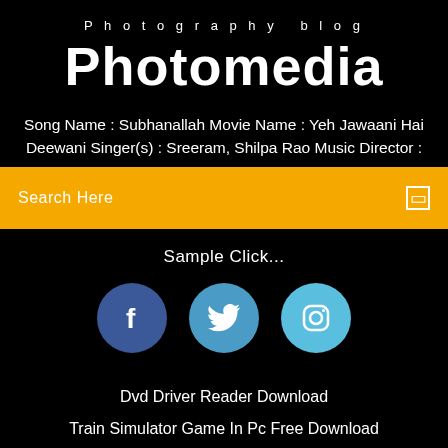Photography blog
Photomedia
Song Name : Subhanallah Movie Name : Yeh Jawaani Hai Deewani Singer(s) : Sreeram, Shilpa Rao Music Director :
Search Here
Sample Click...
[Figure (infographic): Three social media icons: Facebook (dark blue circle with f), Twitter (medium blue circle with bird), Instagram (light blue circle with camera icon)]
Dvd Driver Reader Download
Train Simulator Game In Pc Free Download
Minecraft Pe Download Mac
Turant Free Download Android